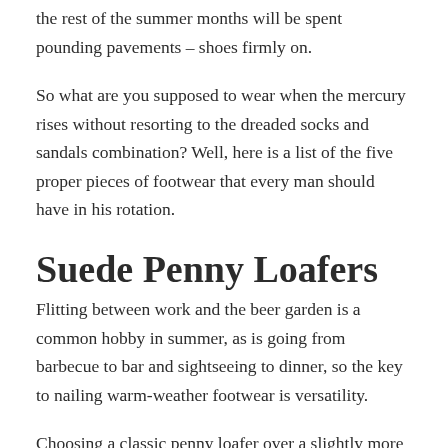the rest of the summer months will be spent pounding pavements – shoes firmly on.
So what are you supposed to wear when the mercury rises without resorting to the dreaded socks and sandals combination? Well, here is a list of the five proper pieces of footwear that every man should have in his rotation.
Suede Penny Loafers
Flitting between work and the beer garden is a common hobby in summer, as is going from barbecue to bar and sightseeing to dinner, so the key to nailing warm-weather footwear is versatility.
Choosing a classic penny loafer over a slightly more relaxed tassel design is an easy way to achieve a smart-casual vibe that'll work with all outfits, be it shorts and a